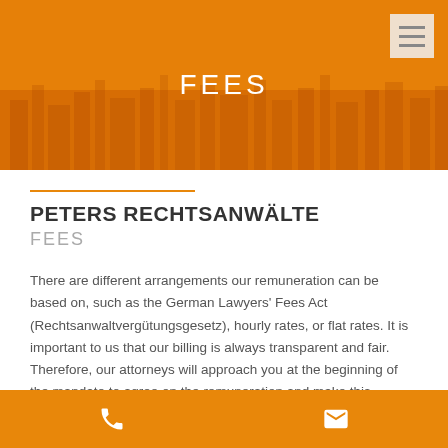[Figure (illustration): Orange header banner with city skyline photo overlay and FEES title text in white]
FEES
PETERS RECHTSANWÄLTE
FEES
There are different arrangements our remuneration can be based on, such as the German Lawyers' Fees Act (Rechtsanwaltvergütungsgesetz), hourly rates, or flat rates. It is important to us that our billing is always transparent and fair. Therefore, our attorneys will approach you at the beginning of the mandate to agree on the remuneration and make this transparent to you.